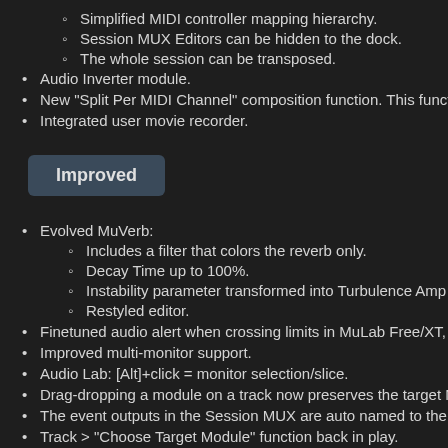Simplified MIDI controller mapping hierarchy.
Session MUX Editors can be hidden to the dock.
The whole session can be transposed.
Audio Inverter module.
New "Split Per MIDI Channel" composition function. This functio
Integrated user movie recorder.
Improved
Evolved MuVerb:
Includes a filter that colors the reverb only.
Decay Time up to 100%.
Instability parameter transformed into Turbulence Amp +
Restyled editor.
Finetuned audio alert when crossing limits in MuLab Free/XT, u
Improved multi-monitor support.
Audio Lab: [Alt]+click = monitor selection/slice.
Drag-dropping a module on a track now preserves the target M
The event outputs in the Session MUX are auto named to the re
Track > "Choose Target Module" function back in play.